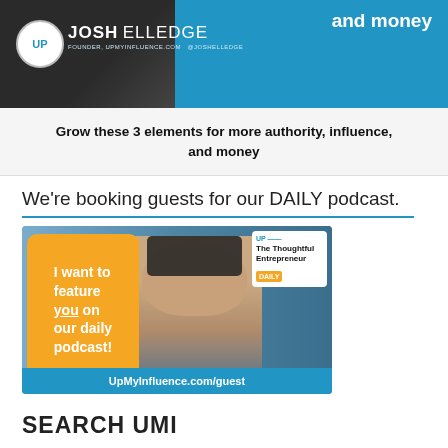[Figure (photo): Top banner with Josh Elledge branding, blue background, UP logo circle, name, founder text, and 'and money' text on right]
Grow these 3 elements for more authority, influence, and money
We're booking guests for our DAILY podcast.
[Figure (photo): Podcast advertisement image: orange badge 'I want to feature you on our daily podcast!', smiling man with headphones, and 'The Thoughtful Entrepreneur' card with UpMyInfluence.com/guest blue bottom strip]
SEARCH UMI